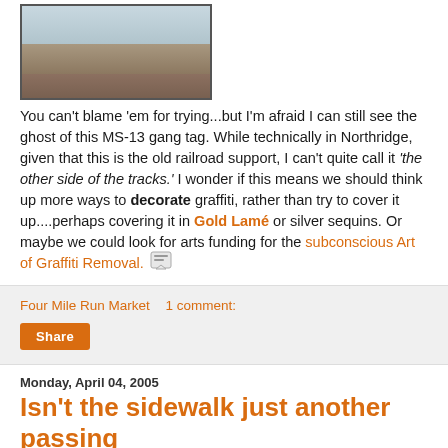[Figure (photo): Photo of a concrete/brick wall surface showing a faded graffiti gang tag that has been painted over, with weathered texture visible.]
You can't blame 'em for trying...but I'm afraid I can still see the ghost of this MS-13 gang tag. While technically in Northridge, given that this is the old railroad support, I can't quite call it 'the other side of the tracks.' I wonder if this means we should think up more ways to decorate graffiti, rather than try to cover it up....perhaps covering it in Gold Lamé or silver sequins. Or maybe we could look for arts funding for the subconscious Art of Graffiti Removal.
Four Mile Run Market    1 comment:
Share
Monday, April 04, 2005
Isn't the sidewalk just another passing lane?